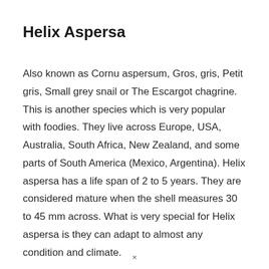Helix Aspersa
Also known as Cornu aspersum, Gros, gris, Petit gris, Small grey snail or The Escargot chagrine. This is another species which is very popular with foodies. They live across Europe, USA, Australia, South Africa, New Zealand, and some parts of South America (Mexico, Argentina). Helix aspersa has a life span of 2 to 5 years. They are considered mature when the shell measures 30 to 45 mm across. What is very special for Helix aspersa is they can adapt to almost any condition and climate.
×